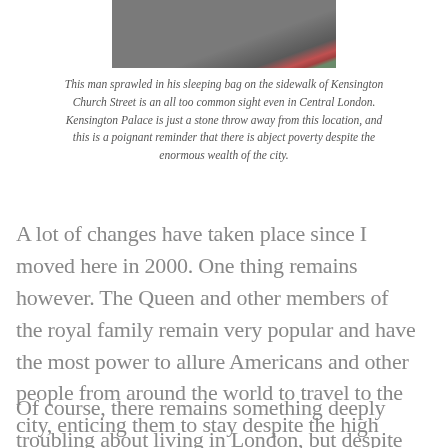[Figure (photo): Top portion of a street photograph showing a sidewalk scene, partially visible, with a plant with red berries in the upper right corner. Grey pavement visible.]
This man sprawled in his sleeping bag on the sidewalk of Kensington Church Street is an all too common sight even in Central London. Kensington Palace is just a stone throw away from this location, and this is a poignant reminder that there is abject poverty despite the enormous wealth of the city.
A lot of changes have taken place since I moved here in 2000. One thing remains however. The Queen and other members of the royal family remain very popular and have the most power to allure Americans and other people from around the world to travel to the city, enticing them to stay despite the high cost of living.
Of course, there remains something deeply troubling about living in London, but despite its